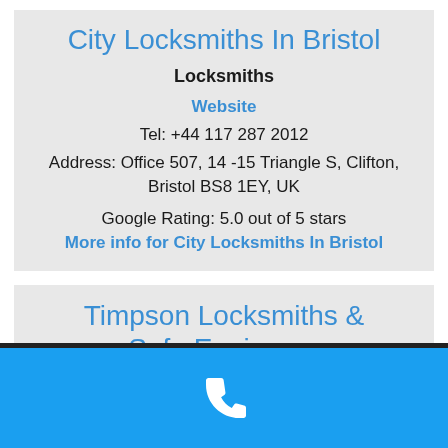City Locksmiths In Bristol
Locksmiths
Website
Tel: +44 117 287 2012
Address: Office 507, 14 -15 Triangle S, Clifton, Bristol BS8 1EY, UK
Google Rating: 5.0 out of 5 stars
More info for City Locksmiths In Bristol
Timpson Locksmiths & Safe Engineers
[Figure (other): Blue call bar with white phone icon at bottom of screen]